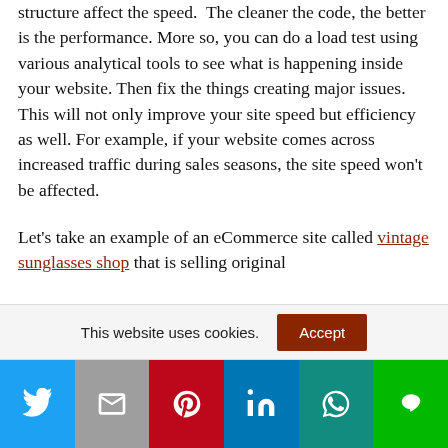structure affect the speed. The cleaner the code, the better is the performance. More so, you can do a load test using various analytical tools to see what is happening inside your website. Then fix the things creating major issues. This will not only improve your site speed but efficiency as well. For example, if your website comes across increased traffic during sales seasons, the site speed won't be affected.
Let's take an example of an eCommerce site called vintage sunglasses shop that is selling original